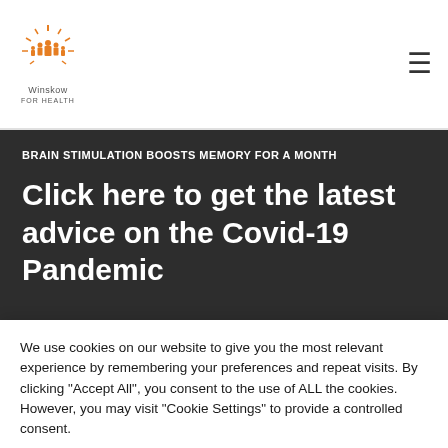[Figure (logo): Winskow logo with orange silhouette figures and sunburst design, with text 'Winskow' below]
BRAIN STIMULATION BOOSTS MEMORY FOR A MONTH
Click here to get the latest advice on the Covid-19 Pandemic
We use cookies on our website to give you the most relevant experience by remembering your preferences and repeat visits. By clicking "Accept All", you consent to the use of ALL the cookies. However, you may visit "Cookie Settings" to provide a controlled consent.
Cookie Settings | Accept All